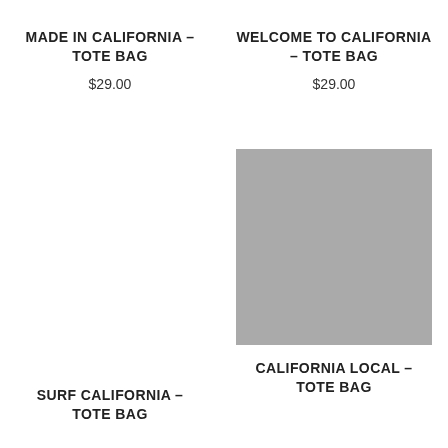MADE IN CALIFORNIA – TOTE BAG
$29.00
WELCOME TO CALIFORNIA – TOTE BAG
$29.00
[Figure (photo): Gray placeholder image for Welcome to California Tote Bag product]
SURF CALIFORNIA – TOTE BAG
CALIFORNIA LOCAL – TOTE BAG